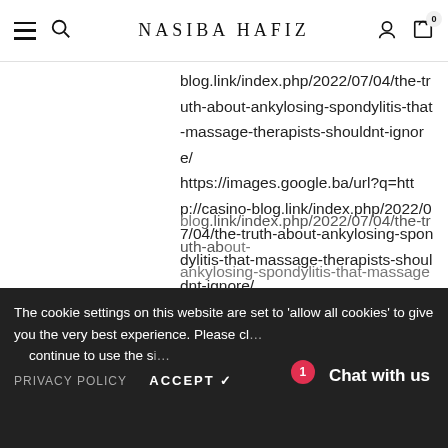≡ 🔍 NASIBA HAFIZ 👤 🛒 0
blog.link/index.php/2022/07/04/the-truth-about-ankylosing-spondylitis-that-massage-therapists-shouldnt-ignore/ https://images.google.ba/url?q=http://casino-blog.link/index.php/2022/07/04/the-truth-about-ankylosing-spondylitis-that-massage-therapists-shouldnt-ignore/ https://images.google.az/url?sa=t&url=http://casino-blog.link/index.php/2022/07/04/the-truth-about-ankylosing-spondylitis-that-massage-therapists-shouldnt-ignore/
The cookie settings on this website are set to 'allow all cookies' to give you the very best experience. Please cl… continue to use the si…
PRIVACY POLICY   ACCEPT ✓